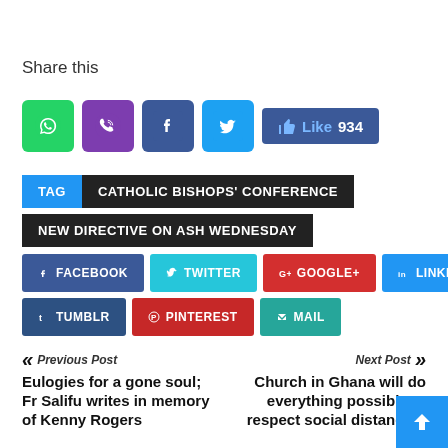Share this
[Figure (infographic): Social sharing icons: WhatsApp (green), Viber (purple), Facebook (blue), Twitter (light blue), and a Like button showing 934 likes]
TAG  CATHOLIC BISHOPS' CONFERENCE
NEW DIRECTIVE ON ASH WEDNESDAY
FACEBOOK  TWITTER  GOOGLE+  LINKEDIN  TUMBLR  PINTEREST  MAIL
Previous Post « Eulogies for a gone soul; Fr Salifu writes in memory of Kenny Rogers
Next Post » Church in Ghana will do everything possible to respect social distancing